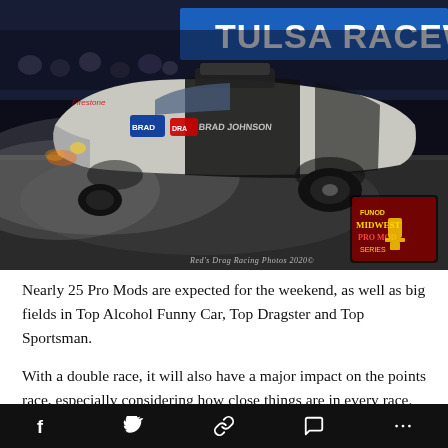[Figure (photo): A silver and black funny car drag racing at Tulsa Raceway Park, burnout smoke visible, with a Midwest Pro Mod Series trophy logo in the bottom right corner and 'Red's Drag Racing Photos 2020' watermark.]
Nearly 25 Pro Mods are expected for the weekend, as well as big fields in Top Alcohol Funny Car, Top Dragster and Top Sportsman.
With a double race, it will also have a major impact on the points race, especially considering how close things are in every race. Joey Oksas has won the past two
Social share bar with icons: Facebook, Twitter, Link, Comment, More